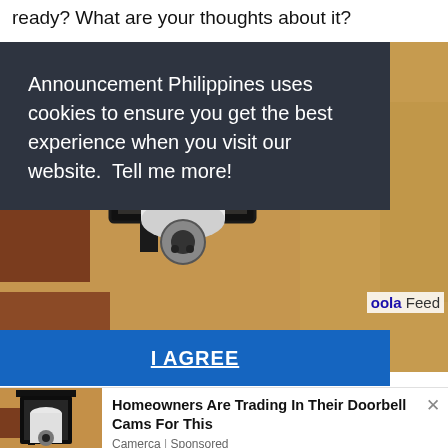ready? What are your thoughts about it?
Announcement Philippines uses cookies to ensure you get the best experience when you visit our website.  Tell me more!
I AGREE
oola Feed
[Figure (photo): Close-up photo of a black metal outdoor lantern fixture mounted on a textured stone/stucco wall, with a white security camera bulb installed inside the lantern.]
[Figure (photo): Thumbnail of same outdoor lantern/security camera photo.]
Homeowners Are Trading In Their Doorbell Cams For This
Camerca | Sponsored